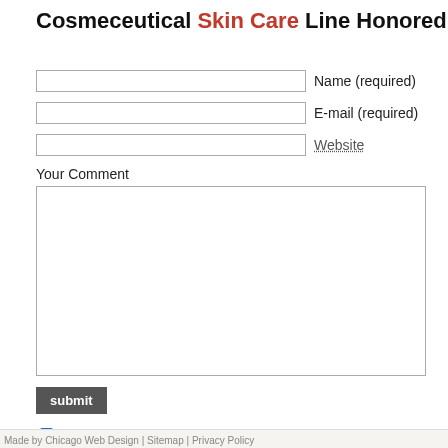Cosmeceutical Skin Care Line Honored by Women'
Name (required)
E-mail (required)
Website
Your Comment
submit
Enable CommentLuv which will try and parse your last blog post, please be for you
Subscribe to comments (Email field must be filled in)
Made by Chicago Web Design | Sitemap | Privacy Policy